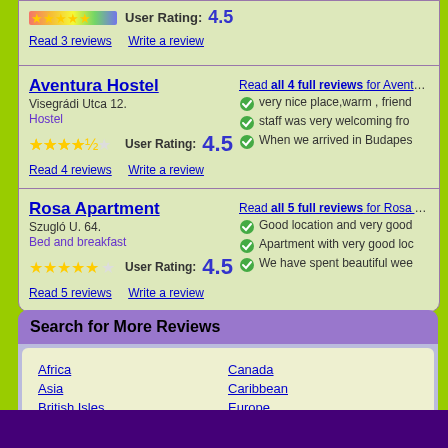User Rating: 4.5
Read 3 reviews   Write a review
Aventura Hostel
Visegrádi Utca 12.
Hostel
User Rating: 4.5
Read 4 reviews   Write a review
Read all 4 full reviews for Aventura H...
very nice place,warm , friend...
staff was very welcoming fro...
When we arrived in Budapes...
Rosa Apartment
Szugló U. 64.
Bed and breakfast
User Rating: 4.5
Read 5 reviews   Write a review
Read all 5 full reviews for Rosa Apa...
Good location and very good...
Apartment with very good loc...
We have spent beautiful wee...
Search for More Reviews
Africa
Asia
British Isles
Canada
Caribbean
Europe